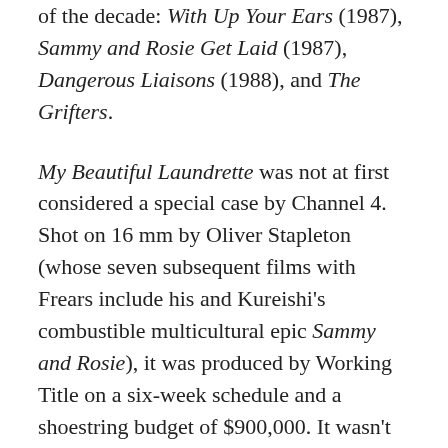of the decade: With Up Your Ears (1987), Sammy and Rosie Get Laid (1987), Dangerous Liaisons (1988), and The Grifters.
My Beautiful Laundrette was not at first considered a special case by Channel 4. Shot on 16 mm by Oliver Stapleton (whose seven subsequent films with Frears include his and Kureishi's combustible multicultural epic Sammy and Rosie), it was produced by Working Title on a six-week schedule and a shoestring budget of $900,000. It wasn't until the film's rapturous reception at the Edinburgh Film Festival in August 1985 that its backers realized they had a red-hot movie on their hands and decided it should get a UK cinema run, for which the prints were blown up to 35 mm.